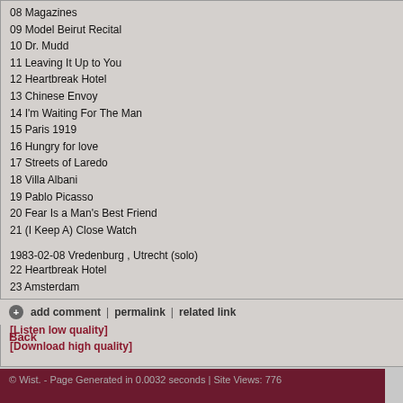08 Magazines
09 Model Beirut Recital
10 Dr. Mudd
11 Leaving It Up to You
12 Heartbreak Hotel
13 Chinese Envoy
14 I'm Waiting For The Man
15 Paris 1919
16 Hungry for love
17 Streets of Laredo
18 Villa Albani
19 Pablo Picasso
20 Fear Is a Man's Best Friend
21 (I Keep A) Close Watch
1983-02-08 Vredenburg , Utrecht (solo)
22 Heartbreak Hotel
23 Amsterdam
24 Riverbank
[Listen low quality]
[Download high quality]
add comment | permalink | related link
Back
© Wist. - Page Generated in 0.0032 seconds | Site Views: 776